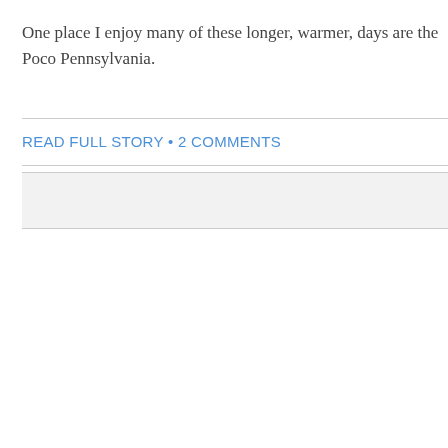One place I enjoy many of these longer, warmer, days are the Poco Pennsylvania.
READ FULL STORY • 2 COMMENTS